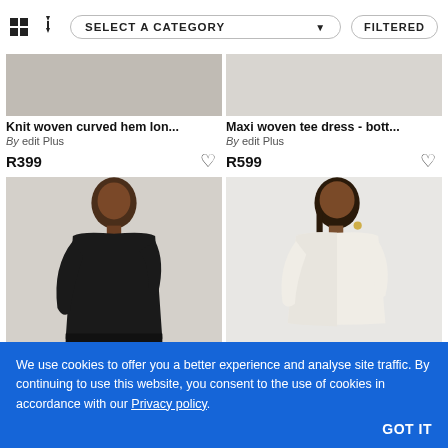[Figure (screenshot): Toolbar with grid icon, sort icon, SELECT A CATEGORY dropdown, and FILTERED button]
Knit woven curved hem lon...
By edit Plus
R399
Maxi woven tee dress - bott...
By edit Plus
R599
[Figure (photo): Woman wearing a black short-sleeve tee dress, standing against white background]
[Figure (photo): Woman wearing a white short-sleeve tee dress, standing against white background]
We use cookies to offer you a better experience and analyse site traffic. By continuing to use this website, you consent to the use of cookies in accordance with our Privacy policy.
GOT IT